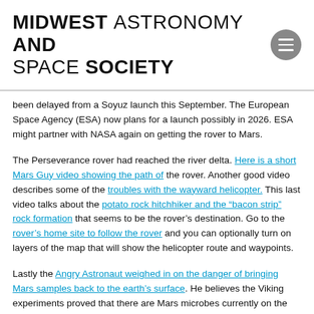MIDWEST ASTRONOMY AND SPACE SOCIETY
been delayed from a Soyuz launch this September. The European Space Agency (ESA) now plans for a launch possibly in 2026. ESA might partner with NASA again on getting the rover to Mars.
The Perseverance rover had reached the river delta. Here is a short Mars Guy video showing the path of the rover. Another good video describes some of the troubles with the wayward helicopter. This last video talks about the potato rock hitchhiker and the “bacon strip” rock formation that seems to be the rover's destination. Go to the rover's home site to follow the rover and you can optionally turn on layers of the map that will show the helicopter route and waypoints.
Lastly the Angry Astronaut weighed in on the danger of bringing Mars samples back to the earth’s surface. He believes the Viking experiments proved that there are Mars microbes currently on the surface. I don’t think that is the